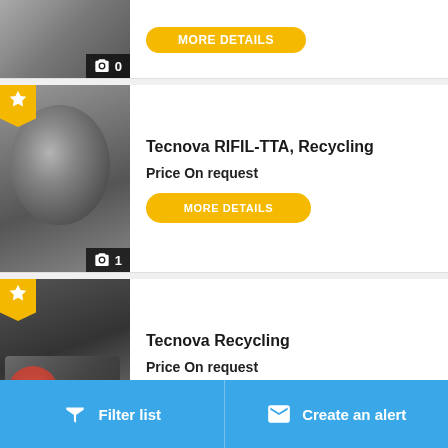[Figure (screenshot): Partial listing card at top with machine photo, camera icon and count 0]
[Figure (photo): Industrial recycling machine - Tecnova RIFIL-TTA]
Tecnova RIFIL-TTA, Recycling
Price On request
MORE DETAILS
[Figure (photo): Industrial recycling machine - Tecnova Recycling]
Tecnova Recycling
Price On request
MORE DETAILS
[Figure (photo): Partial listing card at bottom, partially visible]
Filter list    Create an alert